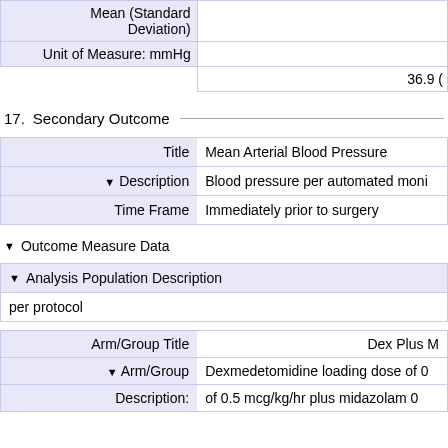|  |  |
| --- | --- |
| Mean (Standard Deviation) |  |
| Unit of Measure: mmHg |  |
|  | 36.9 ( |
17.   Secondary Outcome
|  |  |
| --- | --- |
| Title | Mean Arterial Blood Pressure |
| ▼ Description | Blood pressure per automated moni... |
| Time Frame | Immediately prior to surgery |
▼ Outcome Measure Data
| ▼ Analysis Population Description |
| --- |
| per protocol |
|  |  |
| --- | --- |
| Arm/Group Title | Dex Plus M... |
| ▼ Arm/Group | Dexmedetomidine loading dose of 0... |
| Description: | of 0.5 mcg/kg/hr plus midazolam 0... |